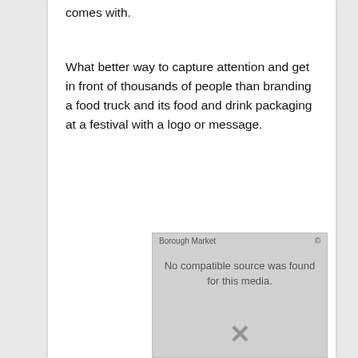comes with.
What better way to capture attention and get in front of thousands of people than branding a food truck and its food and drink packaging at a festival with a logo or message.
[Figure (other): Video media placeholder showing 'Borough Market' label with message 'No compatible source was found for this media.' and an X icon overlay on a grey background.]